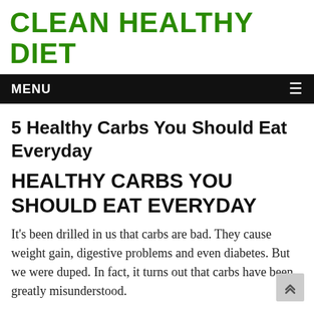CLEAN HEALTHY DIET
MENU
5 Healthy Carbs You Should Eat Everyday
HEALTHY CARBS YOU SHOULD EAT EVERYDAY
It's been drilled in us that carbs are bad. They cause weight gain, digestive problems and even diabetes. But we were duped. In fact, it turns out that carbs have been greatly misunderstood.